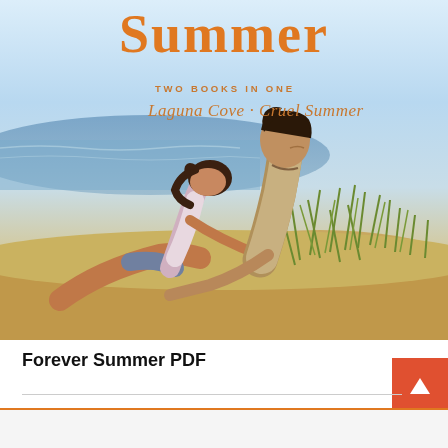[Figure (illustration): Book cover for 'Forever Summer' showing two teenagers (a girl leaning on a boy's shoulder) sitting in beach grass sand dunes with ocean in background. Title 'Summer' in large orange text at top. Text reads 'TWO BOOKS IN ONE / Laguna Cove · Cruel Summer' in orange script and caps.]
Forever Summer PDF